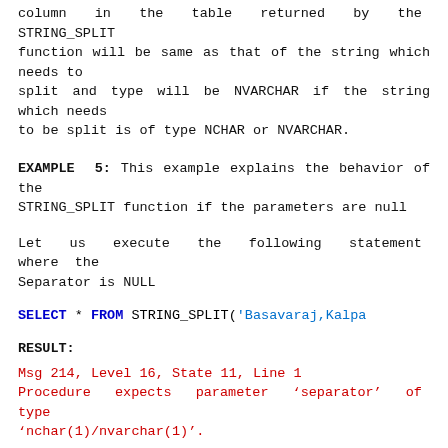column in the table returned by the STRING_SPLIT function will be same as that of the string which needs to split and type will be NVARCHAR if the string which needs to be split is of type NCHAR or NVARCHAR.
EXAMPLE 5: This example explains the behavior of the STRING_SPLIT function if the parameters are null
Let us execute the following statement where the Separator is NULL
SELECT * FROM STRING_SPLIT('Basavaraj,Kalpa
RESULT:
Msg 214, Level 16, State 11, Line 1
Procedure expects parameter 'separator' of type 'nchar(1)/nvarchar(1)'.
Let us execute the following statement where the string